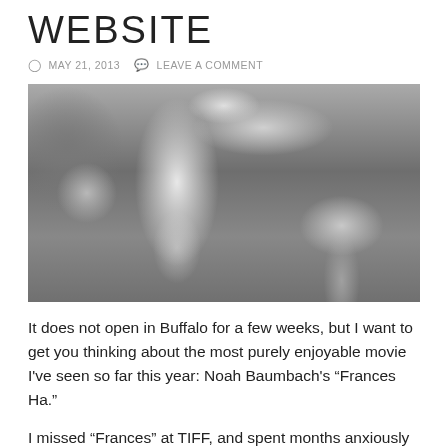WEBSITE
MAY 21, 2013   LEAVE A COMMENT
[Figure (photo): Black and white photograph of a woman dancing energetically near a fountain in an urban setting. She is wearing a white top and dark skirt, with her hair flying. Another person is seated to the right eating or looking at a phone. Trees and fountain architecture visible in background.]
It does not open in Buffalo for a few weeks, but I want to get you thinking about the most purely enjoyable movie I've seen so far this year: Noah Baumbach's “Frances Ha.”
I missed “Frances” at TIFF, and spent months anxiously